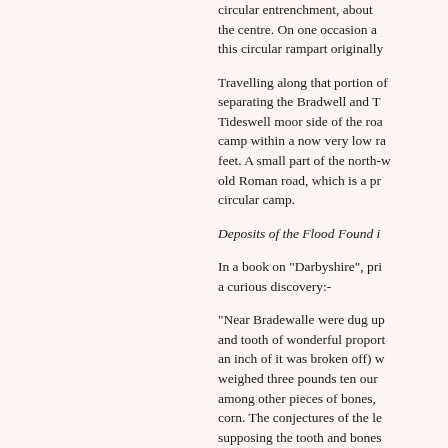circular entrenchment, about [cut off] the centre. On one occasion a [cut off] this circular rampart originally [cut off]
Travelling along that portion of [cut off] separating the Bradwell and T[cut off] Tideswell moor side of the roa[cut off] camp within a now very low ra[cut off] feet. A small part of the north-w[cut off] old Roman road, which is a pr[cut off] circular camp.
Deposits of the Flood Found i[cut off]
In a book on "Darbyshire", pri[cut off] a curious discovery:-
"Near Bradewalle were dug up[cut off] and tooth of wonderful proport[cut off] an inch of it was broken off) w[cut off] weighed three pounds ten our[cut off] among other pieces of bones,[cut off] corn. The conjectures of the le[cut off] supposing the tooth and bones[cut off] so monstrous was found with [cut off] molaris of an elephant, and fo[cut off] bones found near Castleton. T[cut off] phenomena are that they are t[cut off] by the general deluge, and do[cut off]